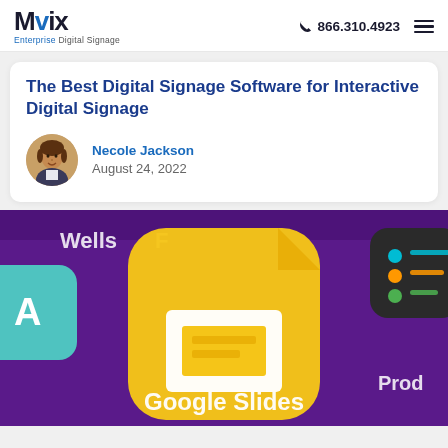Mvix Enterprise Digital Signage | 866.310.4923
The Best Digital Signage Software for Interactive Digital Signage
Necole Jackson
August 24, 2022
[Figure (photo): Close-up photo of a smartphone screen showing the Google Slides app icon on a purple background, with partial views of other app icons including Wells Fargo and a productivity app.]